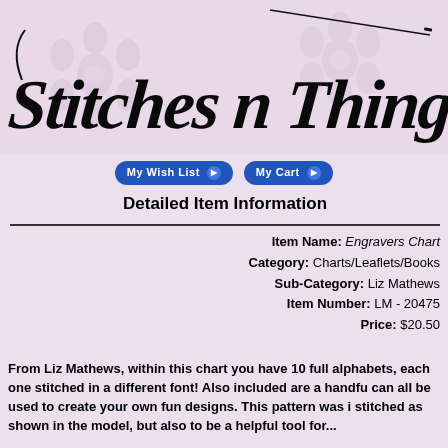[Figure (logo): Stitches n Things cursive handwritten logo on lavender background with needle and decorative flower watermarks]
[Figure (other): Two navigation buttons: 'My Wish List' and 'My Cart' in blue rounded pill style with arrow icons]
Detailed Item Information
Item Name: Engravers Chart
Category: Charts/Leaflets/Books
Sub-Category: Liz Mathews
Item Number: LM - 20475
Price: $20.50
From Liz Mathews, within this chart you have 10 full alphabets, each one stitched in a different font! Also included are a handful can all be used to create your own fun designs. This pattern was i stitched as shown in the model, but also to be a helpful tool for...